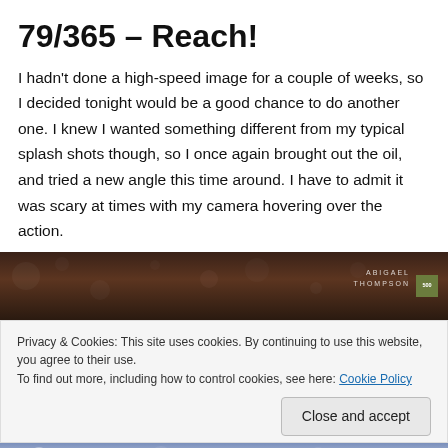79/365 – Reach!
I hadn't done a high-speed image for a couple of weeks, so I decided tonight would be a good chance to do another one. I knew I wanted something different from my typical splash shots though, so I once again brought out the oil, and tried a new angle this time around. I have to admit it was scary at times with my camera hovering over the action.
[Figure (photo): Dark bokeh photo strip with warm brown tones, white bokeh circles, and watermark text 'ABIGAEL THOMPSON' with a small green logo box]
Privacy & Cookies: This site uses cookies. By continuing to use this website, you agree to their use.
To find out more, including how to control cookies, see here: Cookie Policy
[Figure (photo): Blue-toned bokeh photo strip at bottom of page]